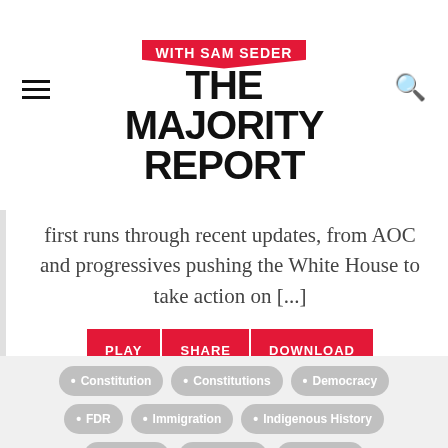[Figure (logo): The Majority Report with Sam Seder logo — bold black text with red speech bubble banner]
first runs through recent updates, from AOC and progressives pushing the White House to take action on [...]
PLAY | SHARE | DOWNLOAD
Constitution
Constitutions
Democracy
FDR
Immigration
Indigenous History
New Deal
Oligarchs
Oligarchy
Reconstruction
Republican Leadership
Republican Party
Roe V Wade
SCOTUS